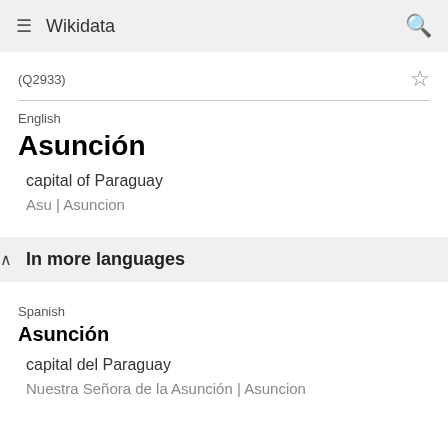Wikidata
(Q2933)
English
Asunción
capital of Paraguay
Asu | Asuncion
In more languages
Spanish
Asunción
capital del Paraguay
Nuestra Señora de la Asunción | Asuncion